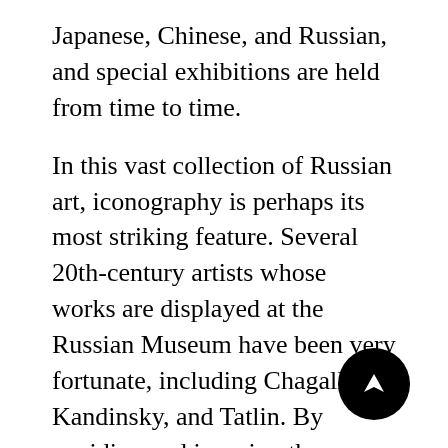Japanese, Chinese, and Russian, and special exhibitions are held from time to time.
In this vast collection of Russian art, iconography is perhaps its most striking feature. Several 20th-century artists whose works are displayed at the Russian Museum have been very fortunate, including Chagall, Kandinsky, and Tatlin. By avoiding and ignoring the Stalinist aesthetic dictates, they predated or evaded the regime's standards.
Finally, the museum contains an entire wing dedicated to folklore and crafts representing all parts of the former Union of Soviet Socialist Republics (USSR). There